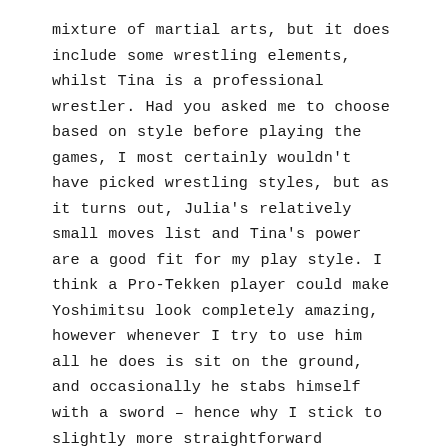mixture of martial arts, but it does include some wrestling elements, whilst Tina is a professional wrestler. Had you asked me to choose based on style before playing the games, I most certainly wouldn't have picked wrestling styles, but as it turns out, Julia's relatively small moves list and Tina's power are a good fit for my play style. I think a Pro-Tekken player could make Yoshimitsu look completely amazing, however whenever I try to use him all he does is sit on the ground, and occasionally he stabs himself with a sword – hence why I stick to slightly more straightforward characters.
I've read in some notable gaming